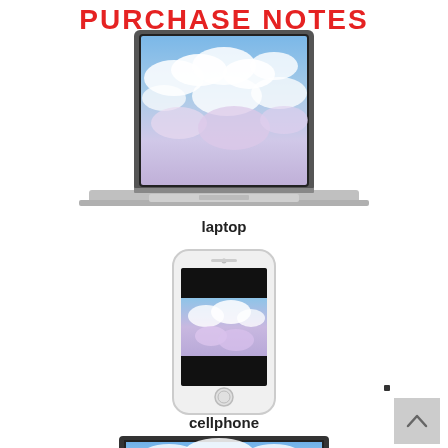PURCHASE NOTES
[Figure (photo): Laptop computer with cloud/sky wallpaper on screen, silver body]
laptop
[Figure (photo): White smartphone (cellphone) with cloud/sky wallpaper visible on screen]
cellphone
[Figure (photo): Flat screen TV/monitor with cloud/sky wallpaper, partially visible at bottom of page]